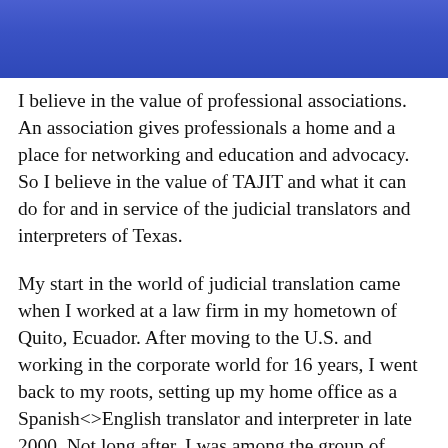[Figure (photo): Cropped bottom portion of a person wearing a blue outfit, photo cut off at top of page]
I believe in the value of professional associations. An association gives professionals a home and a place for networking and education and advocacy. So I believe in the value of TAJIT and what it can do for and in service of the judicial translators and interpreters of Texas.
My start in the world of judicial translation came when I worked at a law firm in my hometown of Quito, Ecuador. After moving to the U.S. and working in the corporate world for 16 years, I went back to my roots, setting up my home office as a Spanish<>English translator and interpreter in late 2000. Not long after, I was among the group of professionals who gathered at a hotel in Austin, Texas and started what became the Texas…